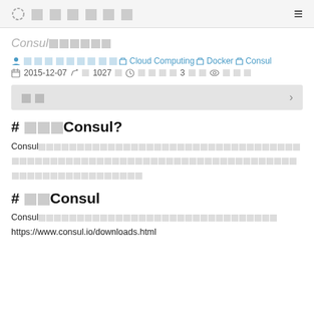□□□□□□ ≡
Consul□□□□□□
⊙□□□□□□ □□□ □Cloud Computing □Docker □Consul
📅 2015-12-07 ✏ □ 1027 □ 🕐 □□□□ 3 □□ 👁 □□□
目次
# □□□Consul?
Consul□□□□□□□□□□□□□□□□□□□□□□□□□□□□□□□□□□□□□□□□□□□□□□□□□□□□□□□□□□□□□□□□□□□□□□□□□□□□□□□□□□□□□□□□□□□□□□
# □□Consul
Consul□□□□□□□□□□□□□□□□□□□□□□□□□□□□□□□
https://www.consul.io/downloads.html